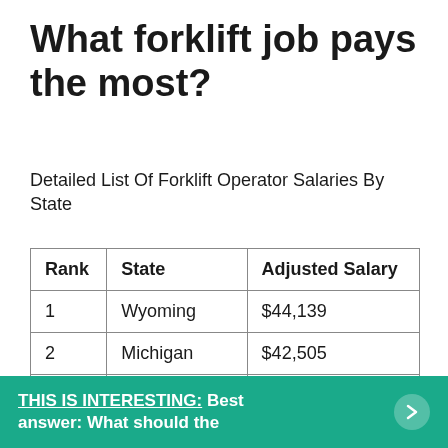What forklift job pays the most?
Detailed List Of Forklift Operator Salaries By State
| Rank | State | Adjusted Salary |
| --- | --- | --- |
| 1 | Wyoming | $44,139 |
| 2 | Michigan | $42,505 |
| 3 | West Virginia | $41,970 |
| 4 | Iowa | $41,703 |
THIS IS INTERESTING:  Best answer: What should the